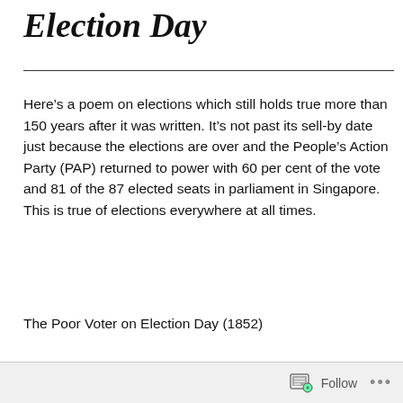Election Day
Here’s a poem on elections which still holds true more than 150 years after it was written. It’s not past its sell-by date just because the elections are over and the People’s Action Party (PAP) returned to power with 60 per cent of the vote and 81 of the 87 elected seats in parliament in Singapore. This is true of elections everywhere at all times.
The Poor Voter on Election Day (1852)
By John Greenleaf Whittier
Follow …